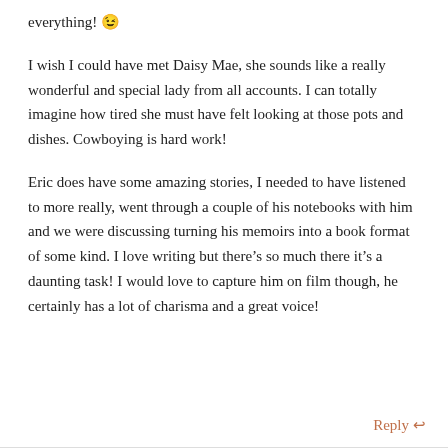everything! 😉
I wish I could have met Daisy Mae, she sounds like a really wonderful and special lady from all accounts. I can totally imagine how tired she must have felt looking at those pots and dishes. Cowboying is hard work!
Eric does have some amazing stories, I needed to have listened to more really, went through a couple of his notebooks with him and we were discussing turning his memoirs into a book format of some kind. I love writing but there's so much there it's a daunting task! I would love to capture him on film though, he certainly has a lot of charisma and a great voice!
Reply ↩